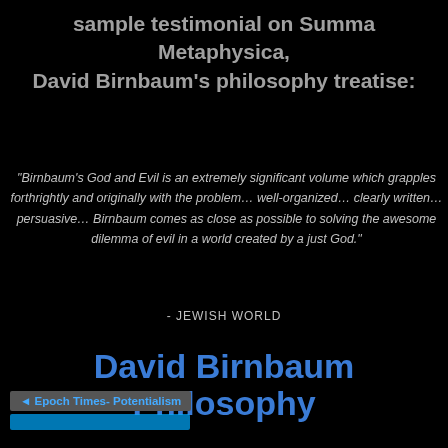sample testimonial on Summa Metaphysica, David Birnbaum's philosophy treatise:
"Birnbaum's God and Evil is an extremely significant volume which grapples forthrightly and originally with the problem… well-organized… clearly written… persuasive… Birnbaum comes as close as possible to solving the awesome dilemma of evil in a world created by a just God."
- JEWISH WORLD
David Birnbaum Philosophy
◄ Epoch Times- Potentialism